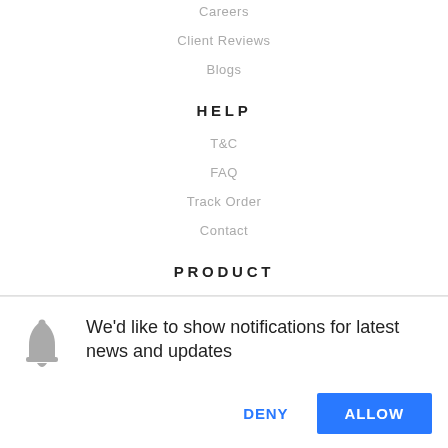Careers
Client Reviews
Blogs
HELP
T&C
FAQ
Track Order
Contact
PRODUCT
Our Store
Offers
Bulk Buying
We'd like to show notifications for latest news and updates